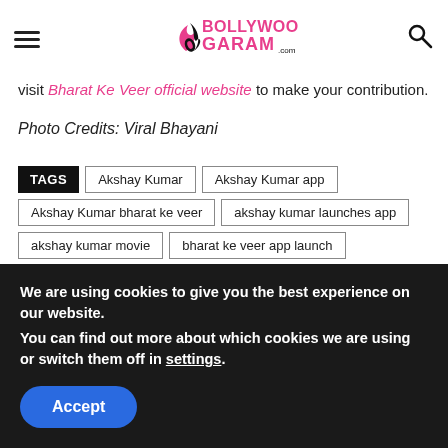Bollywood Garam logo, hamburger menu, search icon
visit Bharat Ke Veer official website to make your contribution.
Photo Credits: Viral Bhayani
TAGS: Akshay Kumar, Akshay Kumar app, Akshay Kumar bharat ke veer, akshay kumar launches app, akshay kumar movie, bharat ke veer app launch
We are using cookies to give you the best experience on our website. You can find out more about which cookies we are using or switch them off in settings.